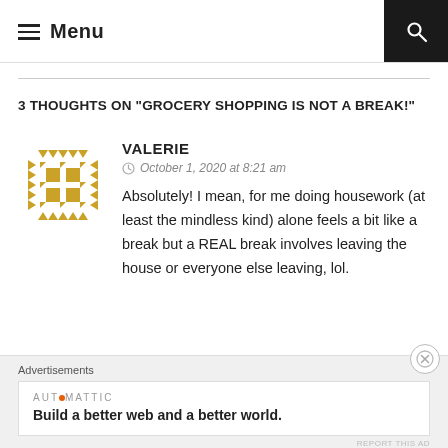Menu
3 THOUGHTS ON "GROCERY SHOPPING IS NOT A BREAK!"
VALERIE
October 1, 2020 at 8:21 am
Absolutely! I mean, for me doing housework (at least the mindless kind) alone feels a bit like a break but a REAL break involves leaving the house or everyone else leaving, lol.
Advertisements
AUTOMATTIC
Build a better web and a better world.